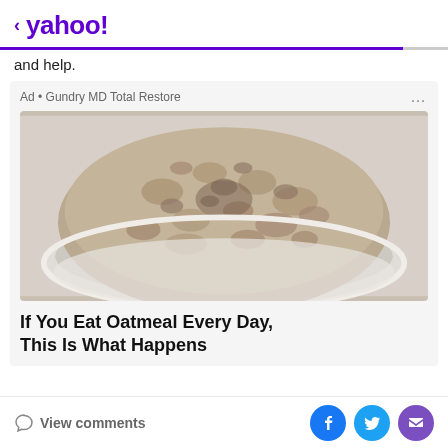< yahoo!
and help.
Ad • Gundry MD Total Restore
[Figure (photo): A white bowl filled with oatmeal/porridge, viewed from above, on a light background.]
If You Eat Oatmeal Every Day, This Is What Happens
View comments